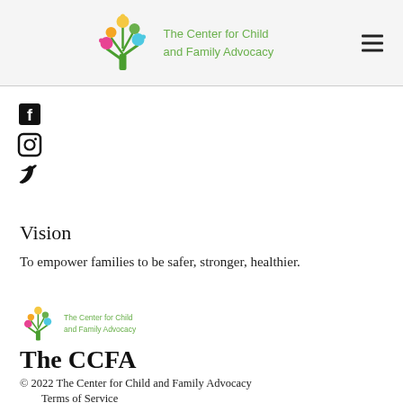The Center for Child and Family Advocacy
[Figure (logo): Colorful tree made of handprints logo with green text 'The Center for Child and Family Advocacy']
[Figure (other): Social media icons: Facebook, Instagram, Twitter]
Vision
To empower families to be safer, stronger, healthier.
[Figure (logo): Smaller version of CCFA logo with tree and text]
The CCFA
© 2022 The Center for Child and Family Advocacy
Terms of Service